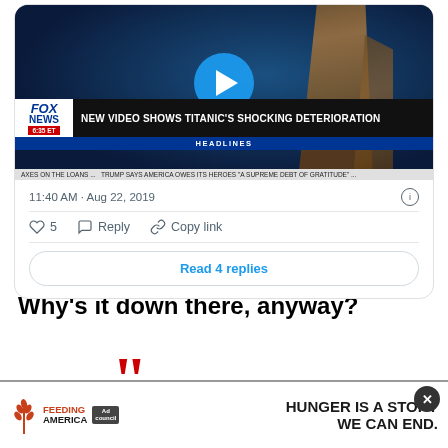[Figure (screenshot): Fox News video thumbnail showing Titanic underwater with play button, headline: NEW VIDEO SHOWS TITANIC'S SHOCKING DETERIORATION, HEADLINES bar, ticker: AXES ON THE LOANS... TRUMP SAYS AMERICA OWES ITS HEROES 'A SUPREME DEBT OF GRATITUDE'...]
11:40 AM · Aug 22, 2019
♡ 5  Reply  Copy link
Read 4 replies
Why's it down there, anyway?
”
– (@)
[Figure (screenshot): Feeding America Ad Council advertisement: HUNGER IS A STORY WE CAN END.]